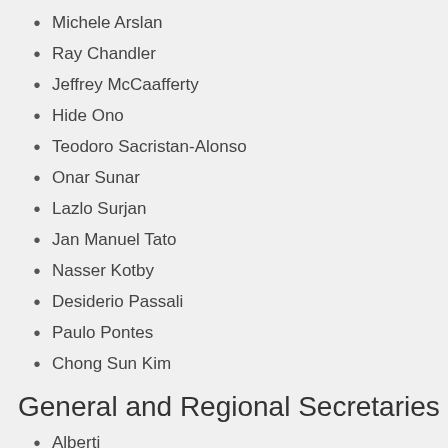Michele Arslan
Ray Chandler
Jeffrey McCaafferty
Hide Ono
Teodoro Sacristan-Alonso
Onar Sunar
Lazlo Surjan
Jan Manuel Tato
Nasser Kotby
Desiderio Passali
Paulo Pontes
Chong Sun Kim
General and Regional Secretaries
Alberti
Chiossone
Diamant
Goldstein
Nasser Kotby
Marquet (2) [twice]
Orozco
Saito
Suzuki
Yamamoto
Grote